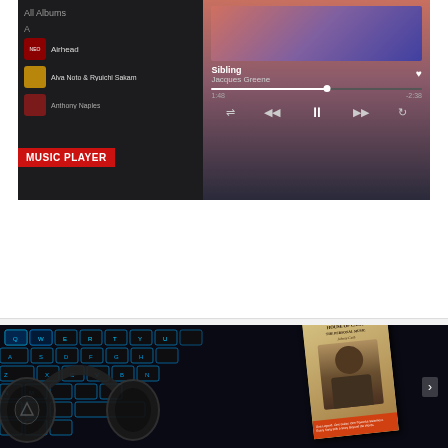[Figure (screenshot): Music player app screenshot showing album list on left (All Albums, A, Airhead, Alva Noto & Ryuichi Sakam, Anthony Naples) and now-playing panel on right (Sibling by Jacques Greene, progress bar at 1:48 / -2:38, playback controls), with a red MUSIC PLAYER badge overlaid]
Doppler Music Player for Siri support, Spotlight integration and CarPlay app [Update: Out Now]
February 16, 2021 / Eva D. Maynard
Doppler will receive a major update next week, bringing notable track and album functionality to the…
[Figure (photo): Photo of a blue-lit keyboard with over-ear headphones resting on it, and a Johnny Cash album cover (House of Cash) partially visible, with an orange promotional bar at the bottom]